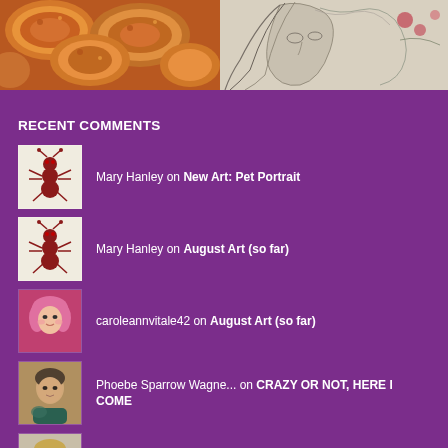[Figure (photo): Close-up photo of fried chicken or breaded food items with orange-golden coloring]
[Figure (illustration): Pencil sketch portrait of a person with flowing hair, artistic drawing]
RECENT COMMENTS
Mary Hanley on New Art: Pet Portrait
Mary Hanley on August Art (so far)
caroleannvitale42 on August Art (so far)
Phoebe Sparrow Wagne... on CRAZY OR NOT, HERE I COME
wachiraflorence on MORE RECENT ART